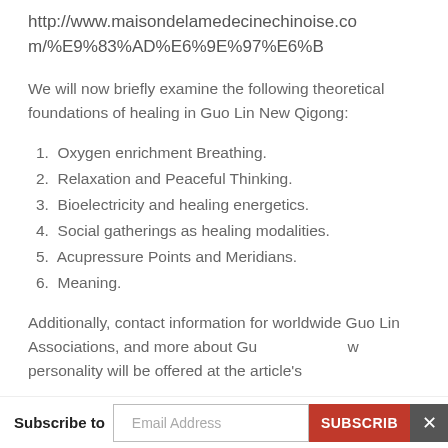http://www.maisondelamedecinechinoise.com/%E9%83%AD%E6%9E%97%E6%B
We will now briefly examine the following theoretical foundations of healing in Guo Lin New Qigong:
1. Oxygen enrichment Breathing.
2. Relaxation and Peaceful Thinking.
3. Bioelectricity and healing energetics.
4. Social gatherings as healing modalities.
5. Acupressure Points and Meridians.
6. Meaning.
Additionally, contact information for worldwide Guo Lin Associations, and more about Gu... personality will be offered at the article's
Subscribe to | Email Address | SUBSCRIBE